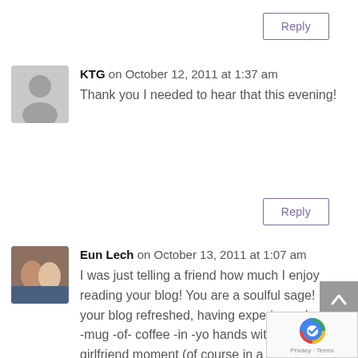Reply
KTG on October 12, 2011 at 1:37 am
Thank you I needed to hear that this evening!
Reply
Eun Lech on October 13, 2011 at 1:07 am
I was just telling a friend how much I enjoy reading your blog! You are a soulful sage! I leave your blog refreshed, having experienced a hot -mug -of- coffee -in -yo hands with a wise girlfriend moment (of course in a cold, blistery setting somewhat